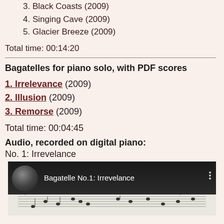3. Black Coasts (2009)
4. Singing Cave (2009)
5. Glacier Breeze (2009)
Total time: 00:14:20
Bagatelles for piano solo, with PDF scores
1. Irrelevance (2009)
2. Illusion (2009)
3. Remorse (2009)
Total time: 00:04:45
Audio, recorded on digital piano:
No. 1: Irrevelance
[Figure (screenshot): YouTube video thumbnail showing Bagatelle No.1: Irrevelance with piano sheet music visible at the bottom]